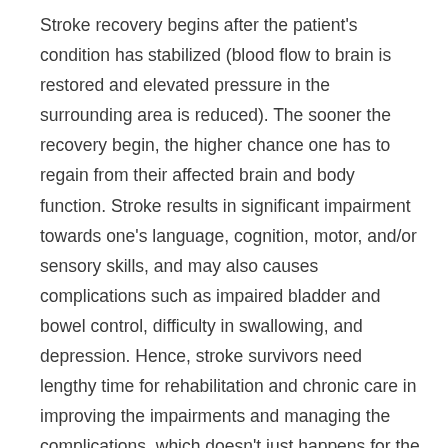Stroke recovery begins after the patient's condition has stabilized (blood flow to brain is restored and elevated pressure in the surrounding area is reduced). The sooner the recovery begin, the higher chance one has to regain from their affected brain and body function. Stroke results in significant impairment towards one's language, cognition, motor, and/or sensory skills, and may also causes complications such as impaired bladder and bowel control, difficulty in swallowing, and depression. Hence, stroke survivors need lengthy time for rehabilitation and chronic care in improving the impairments and managing the complications, which doesn't just happens for the first few months after a stroke attack. It requires patience, hard work and commitment from both caregiver and patient, and may take years to recover (depending on the severity of stroke). Generally, the recovery involve high-intensity training, repetitive-task training and fitness training. It can take place at either rehabilitation units, skilled nursing homes or even your home, if you can get the specialist coming